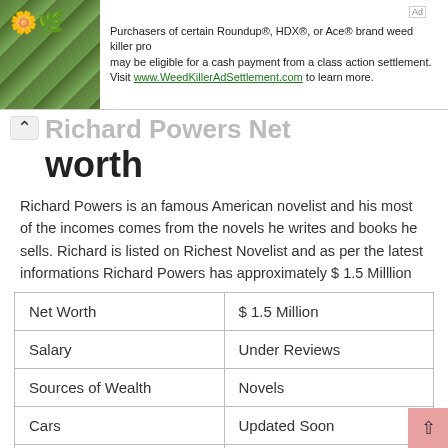[Figure (other): Advertisement banner with plant/flower image on left and text about Roundup class action settlement on right]
worth
Richard Powers is an famous American novelist and his most of the incomes comes from the novels he writes and books he sells. Richard is listed on Richest Novelist and as per the latest informations Richard Powers has approximately $ 1.5 Milllion
| Net Worth | $ 1.5 Million |
| Salary | Under Reviews |
| Sources of Wealth | Novels |
| Cars | Updated Soon |
| House | Updated Soon |